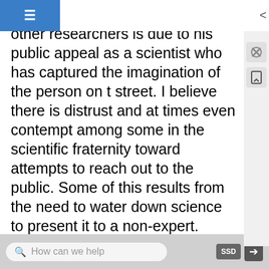rt of his complex relationship with other researchers is due to his public appeal as a scientist who has captured the imagination of the person on the street. I believe there is distrust and at times even contempt among some in the scientific fraternity toward attempts to reach out to the public. Some of this results from the need to water down science to present it to a non-expert. However, the importance of such outreach in communicating the excitement of the research and the possibilities the work holds far outweighs any possible distortions that can occur.

Nonetheless, Hawking remains a historic figure, perhaps the most imminent physicist of his time. He also will continue to epitomize to the public the true character of the scientist struggling to understand how